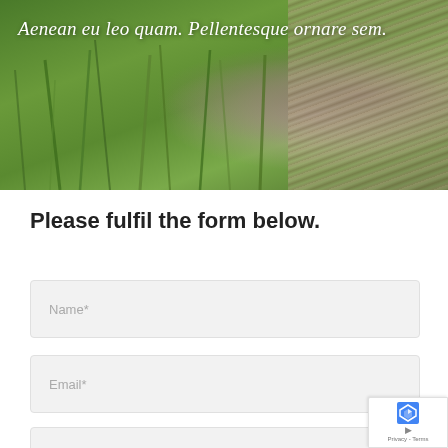[Figure (photo): Hero image banner with green grass/plants and a bird (likely a partridge or pheasant) partially visible on the right side. Italic white text overlaid reading: Aenean eu leo quam. Pellentesque ornare sem.]
Please fulfil the form below.
Name*
Email*
Subject*